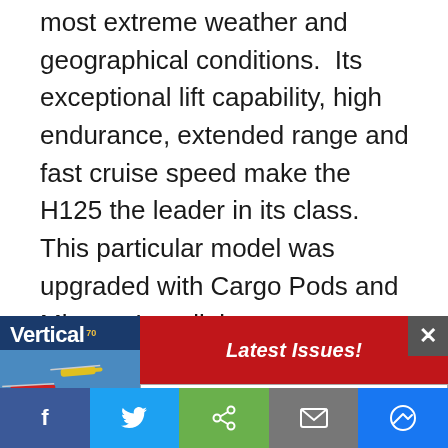most extreme weather and geographical conditions.  Its exceptional lift capability, high endurance, extended range and fast cruise speed make the H125 the leader in its class. This particular model was upgraded with Cargo Pods and Mirrors, Longlining
[Figure (screenshot): Advertisement overlay showing Vertical magazine thumbnail on left with helicopters image, a close (X) button, a red 'Latest Issues!' button, and a 'Subscribe today!' button below it]
[Figure (infographic): Social media sharing bar at bottom with Facebook (blue), Twitter (blue), Share (green), Email (grey), and Messenger (blue) buttons]